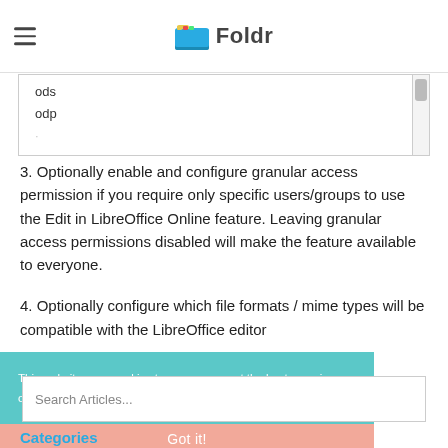Foldr
[Figure (screenshot): Scrollable list box showing file format entries: ods, odp]
3.  Optionally enable and configure granular access permission if you require only specific users/groups to use the Edit in LibreOffice Online feature.  Leaving granular access permissions disabled will make the feature available to everyone.
4.  Optionally configure which file formats / mime types will be compatible with the LibreOffice editor
This website uses cookies to ensure you get the best experience on our website. Learn more
Search Articles...
Got it!
Categories